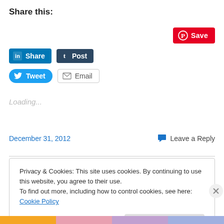Share this:
[Figure (other): Pinterest Save button (red rounded rectangle with P icon)]
[Figure (other): LinkedIn Share button (blue) and Tumblr Post button (dark navy)]
[Figure (other): Twitter Tweet button (blue rounded) and Email button (grey outlined)]
Loading...
December 31, 2012   Leave a Reply
Privacy & Cookies: This site uses cookies. By continuing to use this website, you agree to their use.
To find out more, including how to control cookies, see here: Cookie Policy
Close and accept